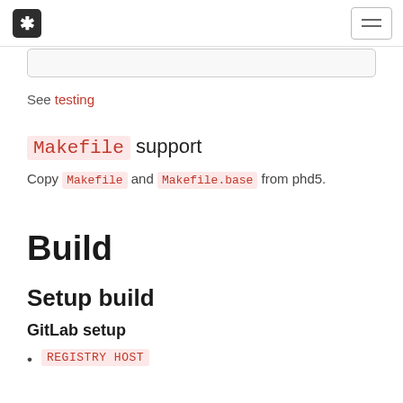Navigation bar with logo and hamburger menu
See testing
Makefile support
Copy Makefile and Makefile.base from phd5.
Build
Setup build
GitLab setup
REGISTRY HOST